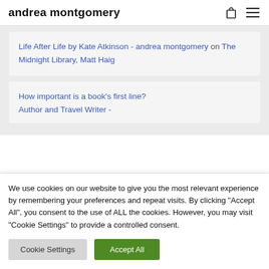andrea montgomery
Life After Life by Kate Atkinson - andrea montgomery on The Midnight Library, Matt Haig
How important is a book's first line? Author and Travel Writer -
We use cookies on our website to give you the most relevant experience by remembering your preferences and repeat visits. By clicking "Accept All", you consent to the use of ALL the cookies. However, you may visit "Cookie Settings" to provide a controlled consent.